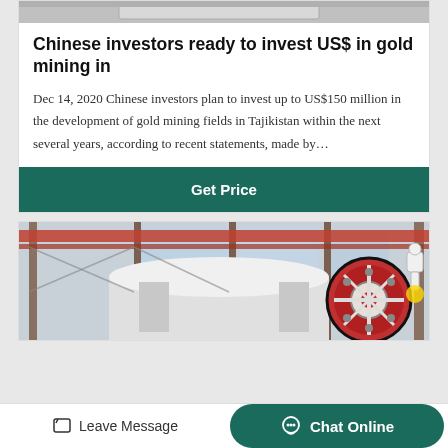[Figure (photo): Top portion of industrial mining machinery, partially visible at the top of the page]
Chinese investors ready to invest US$ in gold mining in
Dec 14, 2020 Chinese investors plan to invest up to US$150 million in the development of gold mining fields in Tajikistan within the next several years, according to recent statements, made by…
Get Price
[Figure (photo): Industrial factory interior showing large red and white mining/crushing machinery with a flywheel, structural steel columns and overhead cranes visible in background]
Leave Message
Chat Online